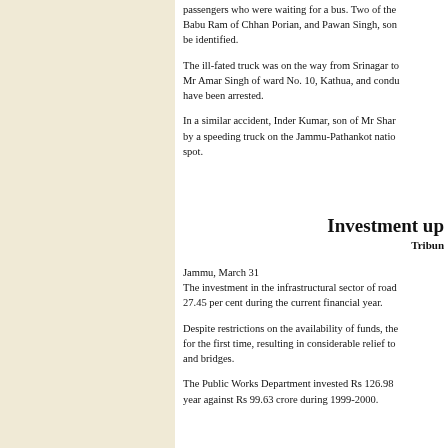passengers who were waiting for a bus. Two of the... Babu Ram of Chhan Porian, and Pawan Singh, son... be identified.
The ill-fated truck was on the way from Srinagar to... Mr Amar Singh of ward No. 10, Kathua, and condu... have been arrested.
In a similar accident, Inder Kumar, son of Mr Shar... by a speeding truck on the Jammu-Pathankot natio... spot.
Investment up
Tribune
Jammu, March 31
The investment in the infrastructural sector of road... 27.45 per cent during the current financial year.
Despite restrictions on the availability of funds, the... for the first time, resulting in considerable relief to... and bridges.
The Public Works Department invested Rs 126.98... year against Rs 99.63 crore during 1999-2000.